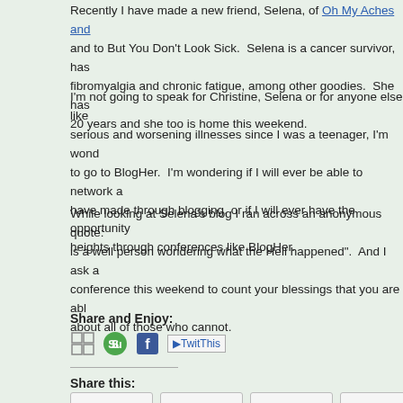Recently I have made a new friend, Selena, of Oh My Aches and and to But You Don't Look Sick.  Selena is a cancer survivor, has fibromyalgia and chronic fatigue, among other goodies.  She has 20 years and she too is home this weekend.
I'm not going to speak for Christine, Selena or for anyone else like serious and worsening illnesses since I was a teenager, I'm wond to go to BlogHer.  I'm wondering if I will ever be able to network a have made through blogging, or if I will ever have the opportunity heights through conferences like BlogHer.
While looking at Selena's blog I ran across an anonymous quote: is a well person wondering what the Hell happened".  And I ask a conference this weekend to count your blessings that you are abl about all of those who cannot.
Share and Enjoy:
[Figure (infographic): Social sharing icons: grid/print icon, StumbleUpon green circle icon, Facebook blue icon, TwitThis text link]
Share this:
[Figure (infographic): Row of sharing button stubs at the bottom]